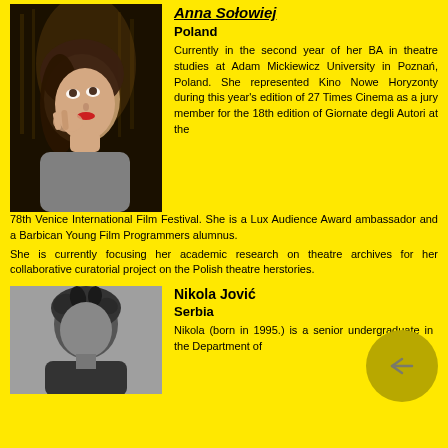Anna Sołowiej
Poland
[Figure (photo): Black and white photo of a young woman looking upward with her hand near her face, in a theatrical setting]
Currently in the second year of her BA in theatre studies at Adam Mickiewicz University in Poznań, Poland. She represented Kino Nowe Horyzonty during this year's edition of 27 Times Cinema as a jury member for the 18th edition of Giornate degli Autori at the 78th Venice International Film Festival. She is a Lux Audience Award ambassador and a Barbican Young Film Programmers alumnus.
She is currently focusing her academic research on theatre archives for her collaborative curatorial project on the Polish theatre herstories.
[Figure (photo): Black and white photo of a young man with messy hair]
Nikola Jović
Serbia
Nikola (born in 1995.) is a senior undergraduate in the Department of